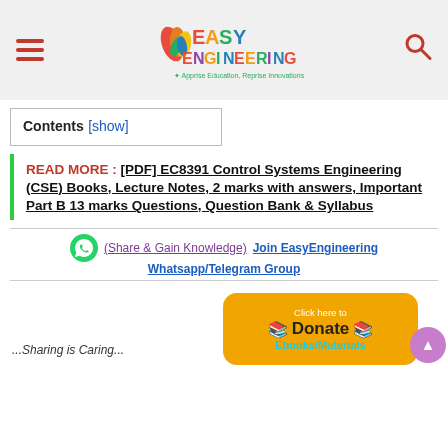Easy Engineering – Apprise Education, Reprise Innovations
Contents [show]
READ MORE : [PDF] EC8391 Control Systems Engineering (CSE) Books, Lecture Notes, 2 marks with answers, Important Part B 13 marks Questions, Question Bank & Syllabus
(Share & Gain Knowledge) Join EasyEngineering Whatsapp/Telegram Group
Click here to Donate Ebooks/Materials
...Sharing is Caring...